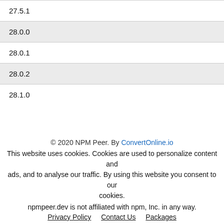| Version |  |
| --- | --- |
| 27.5.1 |  |
| 28.0.0 |  |
| 28.0.1 |  |
| 28.0.2 |  |
| 28.1.0 |  |
© 2020 NPM Peer. By ConvertOnline.io
This website uses cookies. Cookies are used to personalize content and ads, and to analyse our traffic. By using this website you consent to our cookies.
npmpeer.dev is not affiliated with npm, Inc. in any way.
Privacy Policy   Contact Us   Packages